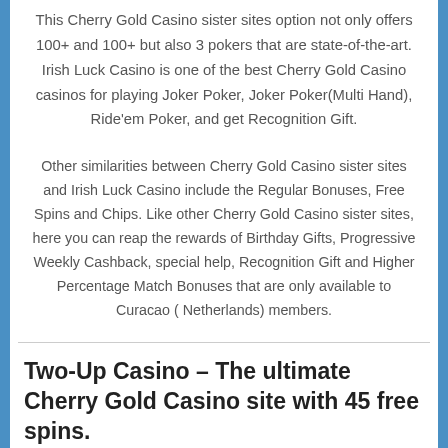This Cherry Gold Casino sister sites option not only offers 100+ and 100+ but also 3 pokers that are state-of-the-art. Irish Luck Casino is one of the best Cherry Gold Casino casinos for playing Joker Poker, Joker Poker(Multi Hand), Ride'em Poker, and get Recognition Gift.
Other similarities between Cherry Gold Casino sister sites and Irish Luck Casino include the Regular Bonuses, Free Spins and Chips. Like other Cherry Gold Casino sister sites, here you can reap the rewards of Birthday Gifts, Progressive Weekly Cashback, special help, Recognition Gift and Higher Percentage Match Bonuses that are only available to Curacao ( Netherlands) members.
Two-Up Casino – The ultimate Cherry Gold Casino site with 45 free spins.